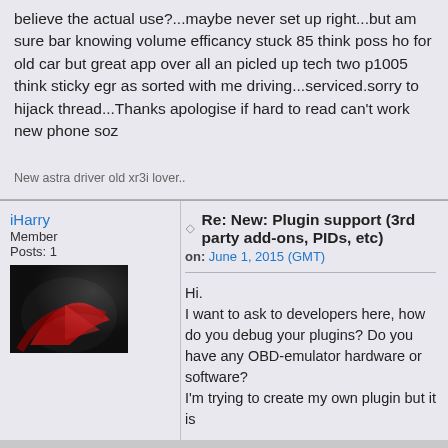believe the actual use?...maybe never set up right...but am sure bar knowing volume efficancy stuck 85 think poss ho for old car but great app over all an picled up tech two p1005 think sticky egr as sorted with me driving...serviced.sorry to hijack thread...Thanks apologise if hard to read can't work new phone soz
New astra driver old xr3i lover..
iHarry
Member
Posts: 1
Re: New: Plugin support (3rd party add-ons, PIDs, etc)
on: June 1, 2015 (GMT)
Hi.
I want to ask to developers here, how do you debug your plugins? Do you have any OBD-emulator hardware or software?
I'm trying to create my own plugin but it is